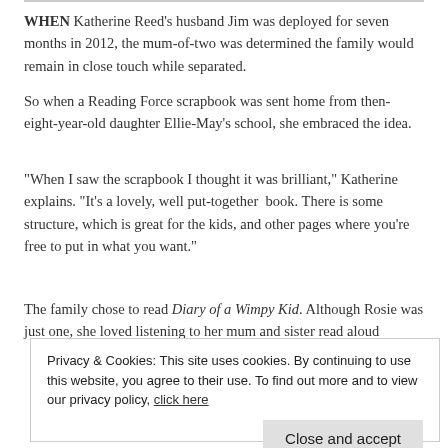WHEN Katherine Reed's husband Jim was deployed for seven months in 2012, the mum-of-two was determined the family would remain in close touch while separated.
So when a Reading Force scrapbook was sent home from then-eight-year-old daughter Ellie-May's school, she embraced the idea.
“When I saw the scrapbook I thought it was brilliant,” Katherine explains. “It’s a lovely, well put-together book. There is some structure, which is great for the kids, and other pages where you’re free to put in what you want.”
The family chose to read Diary of a Wimpy Kid. Although Rosie was just one, she loved listening to her mum and sister read aloud
Privacy & Cookies: This site uses cookies. By continuing to use this website, you agree to their use. To find out more and to view our privacy policy, click here
Close and accept